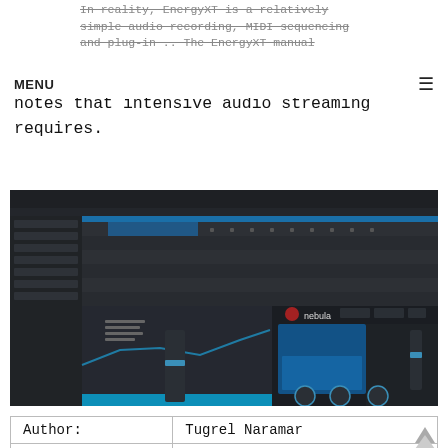In reality, EnergyXT is a relatively simple audio recording, MIDI sequencing and plug-in .. The EnergyXT manual notes that intensive audio streaming requires.
notes that intensive audio streaming requires.
[Figure (screenshot): Screenshot of EnergyXT audio software interface showing MIDI sequencer and a Nebula plugin window with blue interface elements on dark background]
| Author: | Tugrel Naramar |
| Country: | El Salvador |